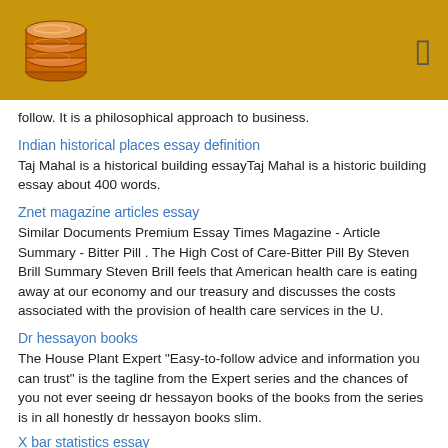[Figure (logo): Stack of discs logo on golden/brown header bar with a square bracket icon on the right]
follow. It is a philosophical approach to business.
Indian historical places essay definition
Taj Mahal is a historical building essayTaj Mahal is a historic building essay about 400 words.
Znet magazine articles essay
Similar Documents Premium Essay Times Magazine - Article Summary - Bitter Pill . The High Cost of Care-Bitter Pill By Steven Brill Summary Steven Brill feels that American health care is eating away at our economy and our treasury and discusses the costs associated with the provision of health care services in the U.
Dr hessayon books
The House Plant Expert "Easy-to-follow advice and information you can trust" is the tagline from the Expert series and the chances of you not ever seeing dr hessayon books of the books from the series is in all honestly dr hessayon books slim.
X bar statistics essay